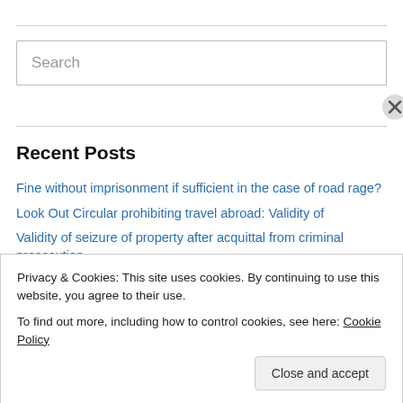Search
Recent Posts
Fine without imprisonment if sufficient in the case of road rage?
Look Out Circular prohibiting travel abroad: Validity of
Validity of seizure of property after acquittal from criminal prosecution.
Right to wear Hijab in School
Privacy & Cookies: This site uses cookies. By continuing to use this website, you agree to their use.
To find out more, including how to control cookies, see here: Cookie Policy
Close and accept